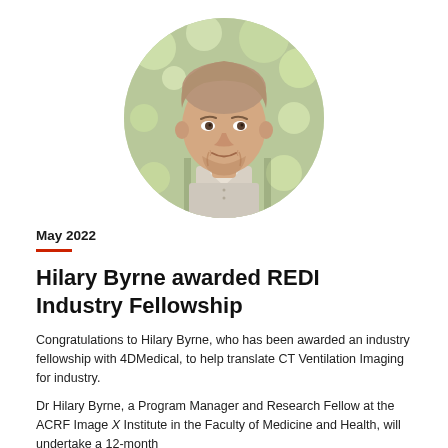[Figure (photo): Circular portrait photo of a young man with short brown hair and a short beard, wearing a light grey button-up shirt, outdoors with blurred green trees in the background.]
May 2022
Hilary Byrne awarded REDI Industry Fellowship
Congratulations to Hilary Byrne, who has been awarded an industry fellowship with 4DMedical, to help translate CT Ventilation Imaging for industry.
Dr Hilary Byrne, a Program Manager and Research Fellow at the ACRF Image X Institute in the Faculty of Medicine and Health, will undertake a 12-month